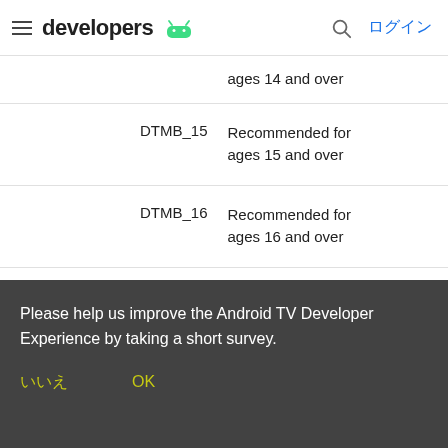developers ログイン
|  |  |
| --- | --- |
|  | ages 14 and over |
| DTMB_15 | Recommended for ages 15 and over |
| DTMB_16 | Recommended for ages 16 and over |
| DTMB_17 | Recommended for ages 17 and over |
| DTMB_18 | Recommended for |
Please help us improve the Android TV Developer Experience by taking a short survey.
いいえ　　OK